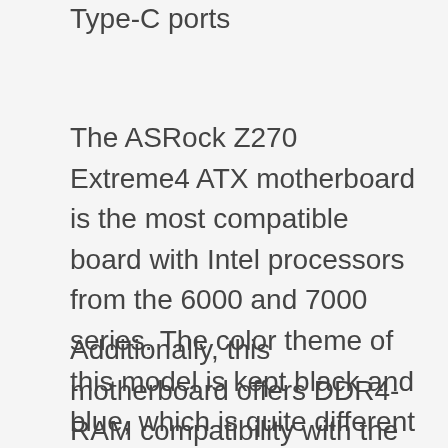Type-C ports
The ASRock Z270 Extreme4 ATX motherboard is the most compatible board with Intel processors from the 6000 and 7000 series. The color theme of this model is kept black and blue, which is quite different from the similarly priced models.
Additionally, this motherboard offers DDR4-RAM compatibility with the 4-DIMM slots in an ultra-swift dual channeled mode to ensure an advanced level of performance